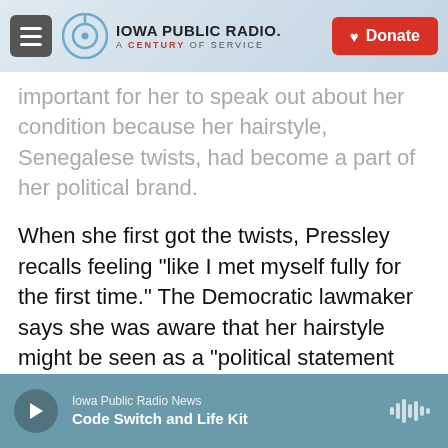IOWA PUBLIC RADIO. A CENTURY OF SERVICE | Donate
important for her to speak out about her condition because her hairstyle, Senegalese twists, had become a part of her political brand.
When she first got the twists, Pressley recalls feeling "like I met myself fully for the first time." The Democratic lawmaker says she was aware that her hairstyle might be seen as a "political statement that was militant." But she was deeply moved by the positive reception it garnered.
"Now, I walk into rooms and little girls are wearing T-shirts that say 'My Congresswoman Wears
Iowa Public Radio News | Code Switch and Life Kit